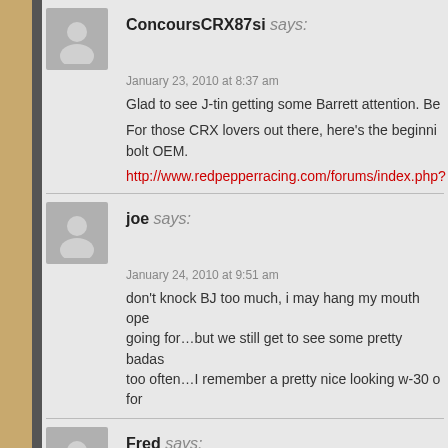ConcoursCRX87si says:
January 23, 2010 at 8:37 am
Glad to see J-tin getting some Barrett attention. Be...
For those CRX lovers out there, here's the beginning... bolt OEM.
http://www.redpepperracing.com/forums/index.php?...
joe says:
January 24, 2010 at 9:51 am
don't knock BJ too much, i may hang my mouth ope... going for…but we still get to see some pretty badass too often…I remember a pretty nice looking w-30 o... for
Fred says:
January 25, 2010 at 10:25 am
It makes me happy to see this, seeing as how I hav...